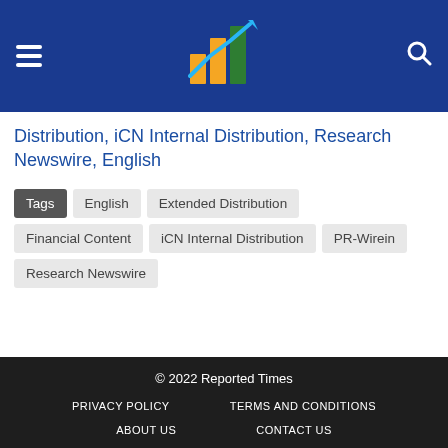Reported Times - header with logo, hamburger menu and search
Distribution, iCN Internal Distribution, Research Newswire, English
Tags: English, Extended Distribution, Financial Content, iCN Internal Distribution, PR-Wirein, Research Newswire
© 2022 Reported Times | PRIVACY POLICY | TERMS AND CONDITIONS | ABOUT US | CONTACT US